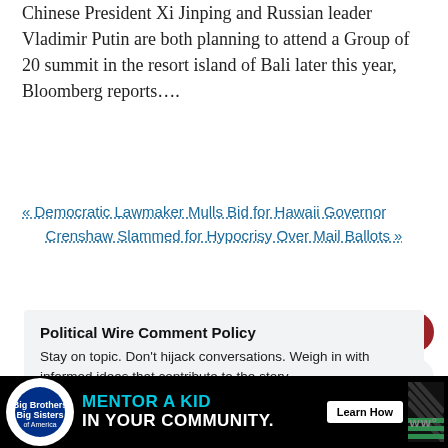Chinese President Xi Jinping and Russian leader Vladimir Putin are both planning to attend a Group of 20 summit in the resort island of Bali later this year, Bloomberg reports….
« Democratic Lawmaker Mulls Bid for Hawaii Governor
Crenshaw Slammed for Hypocrisy Over Mail Ballots »
Political Wire Comment Policy
Stay on topic. Don't hijack conversations. Weigh in with informed ideas that contribute to the story.
[Figure (infographic): Advertisement banner: Big Brothers Big Sisters logo with text 'MENTOR A KID IN YOUR COMMUNITY.' and 'Learn How' button]